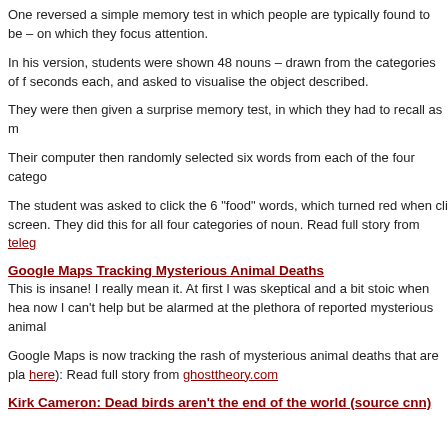One reversed a simple memory test in which people are typically found to be – on which they focus attention.
In his version, students were shown 48 nouns – drawn from the categories of f seconds each, and asked to visualise the object described.
They were then given a surprise memory test, in which they had to recall as m
Their computer then randomly selected six words from each of the four catego
The student was asked to click the 6 "food" words, which turned red when cli screen. They did this for all four categories of noun. Read full story from teleg
Google Maps Tracking Mysterious Animal Deaths
This is insane! I really mean it. At first I was skeptical and a bit stoic when hea now I can't help but be alarmed at the plethora of reported mysterious animal
Google Maps is now tracking the rash of mysterious animal deaths that are pla here): Read full story from ghosttheory.com
Kirk Cameron: Dead birds aren't the end of the world (source cnn)